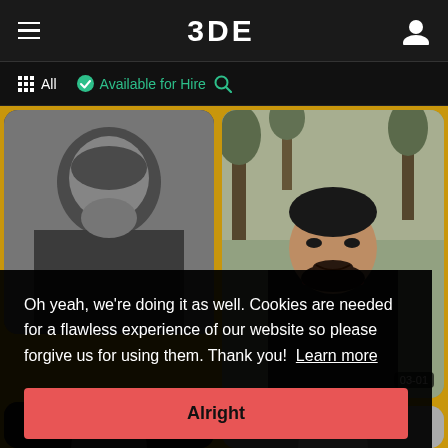3DE
All   Available for Hire
[Figure (screenshot): Profile grid with two user profile photos on a golden/amber background. Left card shows a grayscale photo of a man. Right card shows a color photo of a young man outdoors.]
Oh yeah, we're doing it as well. Cookies are needed for a flawless experience of our website so please forgive us for using them. Thank you!  Learn more
Alright